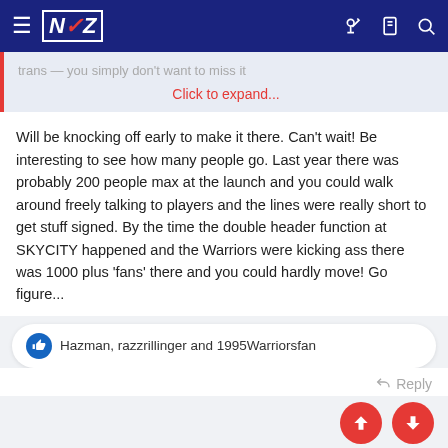NZ Warriors forum navigation bar
trans — you simply don't want to miss it
Click to expand...
Will be knocking off early to make it there. Can't wait! Be interesting to see how many people go. Last year there was probably 200 people max at the launch and you could walk around freely talking to players and the lines were really short to get stuff signed. By the time the double header function at SKYCITY happened and the Warriors were kicking ass there was 1000 plus 'fans' there and you could hardly move! Go figure...
Hazman, razzrillinger and 1995Warriorsfan
Reply
14 of 16